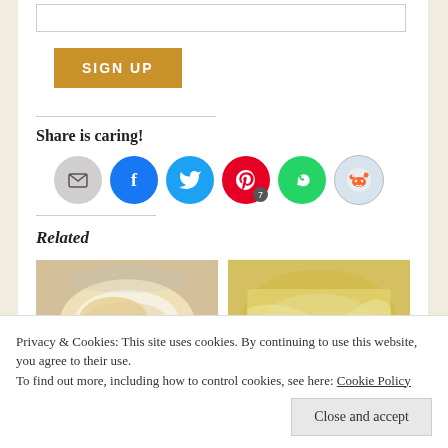[Figure (screenshot): Email input box at the top of the white panel]
SIGN UP
Share is caring!
[Figure (infographic): Social sharing icons: email, Facebook, Twitter, Pinterest (with badge 7), WhatsApp, Reddit]
Related
[Figure (photo): Pasta dish in a white plate with parmesan cheese]
[Figure (photo): Pasta dish with parmesan cheese and vegetables in a colorful bowl]
Privacy & Cookies: This site uses cookies. By continuing to use this website, you agree to their use.
To find out more, including how to control cookies, see here: Cookie Policy
Close and accept